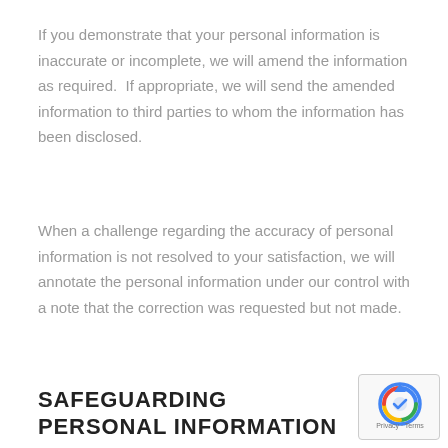If you demonstrate that your personal information is inaccurate or incomplete, we will amend the information as required.  If appropriate, we will send the amended information to third parties to whom the information has been disclosed.
When a challenge regarding the accuracy of personal information is not resolved to your satisfaction, we will annotate the personal information under our control with a note that the correction was requested but not made.
SAFEGUARDING PERSONAL INFORMATION